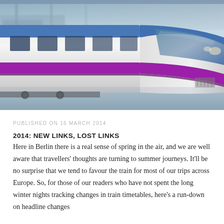[Figure (photo): A high-speed train (white with purple and blue stripe) at a station platform, photographed at an angle showing the aerodynamic nose, with motion blur in the background suggesting speed.]
PUBLISHED ON 16 MARCH 2014
2014: NEW LINKS, LOST LINKS
Here in Berlin there is a real sense of spring in the air, and we are well aware that travellers' thoughts are turning to summer journeys. It'll be no surprise that we tend to favour the train for most of our trips across Europe. So, for those of our readers who have not spent the long winter nights tracking changes in train timetables, here's a run-down on headline changes